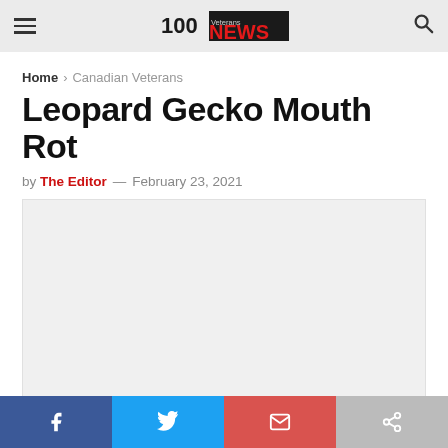Veterans News
Home > Canadian Veterans
Leopard Gecko Mouth Rot
by The Editor — February 23, 2021
[Figure (other): Article featured image placeholder (light grey rectangle)]
Social share buttons: Facebook, Twitter, Email, Share